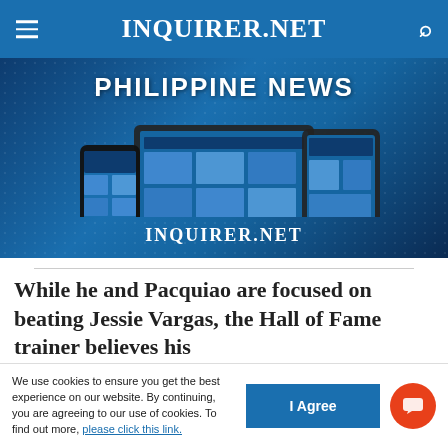INQUIRER.NET
[Figure (screenshot): Inquirer.net Philippine News banner showing devices (smartphone, laptop, tablet) with the website displayed, on a blue tech background. Text reads 'PHILIPPINE NEWS' and 'INQUIRER.NET']
While he and Pacquiao are focused on beating Jessie Vargas, the Hall of Fame trainer believes his
We use cookies to ensure you get the best experience on our website. By continuing, you are agreeing to our use of cookies. To find out more, please click this link.
I Agree